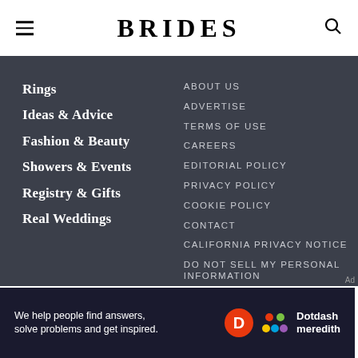BRIDES
Rings
Ideas & Advice
Fashion & Beauty
Showers & Events
Registry & Gifts
Real Weddings
ABOUT US
ADVERTISE
TERMS OF USE
CAREERS
EDITORIAL POLICY
PRIVACY POLICY
COOKIE POLICY
CONTACT
CALIFORNIA PRIVACY NOTICE
DO NOT SELL MY PERSONAL INFORMATION
We help people find answers, solve problems and get inspired.
[Figure (logo): Dotdash Meredith logo with D circle and colorful dots]